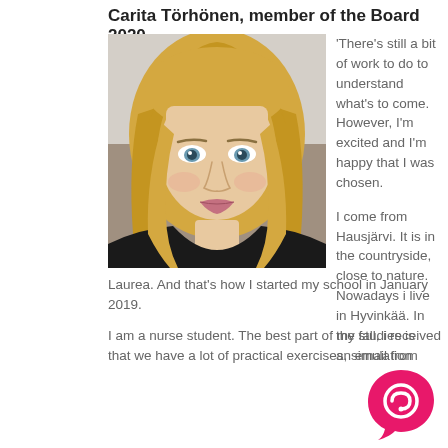Carita Törhönen, member of the Board 2020
[Figure (photo): Portrait photo of Carita Törhönen, a blonde woman with blue eyes, wearing a black top, selfie-style photo]
'There's still a bit of work to do to understand what's to come. However, I'm excited and I'm happy that I was chosen.

I come from Hausjärvi. It is in the countryside, close to nature. Nowadays i live in Hyvinkää. In the fall, i received an email from Laurea. And that's how I started my school in January 2019.
I am a nurse student. The best part of my studies is that we have a lot of practical exercises, simulation
[Figure (logo): Pink speech bubble / chat icon logo in bottom right corner]